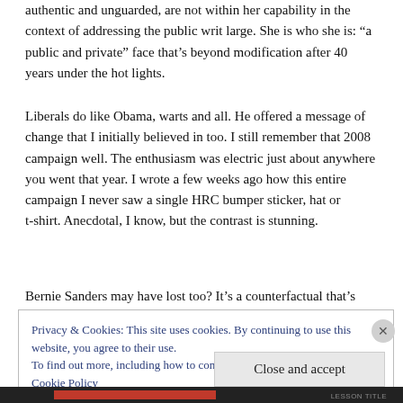authentic and unguarded, are not within her capability in the context of addressing the public writ large. She is who she is: “a public and private” face that’s beyond modification after 40 years under the hot lights.
Liberals do like Obama, warts and all. He offered a message of change that I initially believed in too. I still remember that 2008 campaign well. The enthusiasm was electric just about anywhere you went that year. I wrote a few weeks ago how this entire campaign I never saw a single HRC bumper sticker, hat or t-shirt. Anecdotal, I know, but the contrast is stunning.
Bernie Sanders may have lost too? It’s a counterfactual that’s
Privacy & Cookies: This site uses cookies. By continuing to use this website, you agree to their use.
To find out more, including how to control cookies, see here:
Cookie Policy
Close and accept